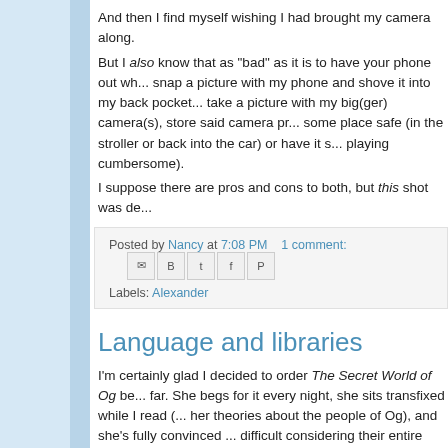And then I find myself wishing I had brought my camera along.
But I also know that as "bad" as it is to have your phone out wh... snap a picture with my phone and shove it into my back pocket... take a picture with my big(ger) camera(s), store said camera pr... some place safe (in the stroller or back into the car) or have it s... playing cumbersome).
I suppose there are pros and cons to both, but this shot was de...
Posted by Nancy at 7:08 PM   1 comment:
Labels: Alexander
Language and libraries
I'm certainly glad I decided to order The Secret World of Og be... far. She begs for it every night, she sits transfixed while I read (... her theories about the people of Og), and she's fully convinced ... difficult considering their entire language consists of a single w...
During reading lessons today, we came across the word "bag,"... system she's learning, each vowel sound is written a different w...